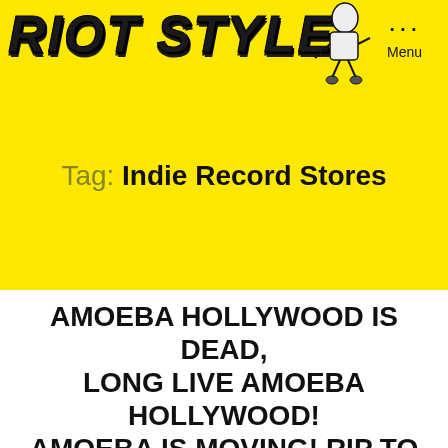RIOT STYLE  ··· Menu
Tag: Indie Record Stores
AMOEBA HOLLYWOOD IS DEAD, LONG LIVE AMOEBA HOLLYWOOD! AMOEBA IS MOVING! RIP TO THE OLD LOCATION!